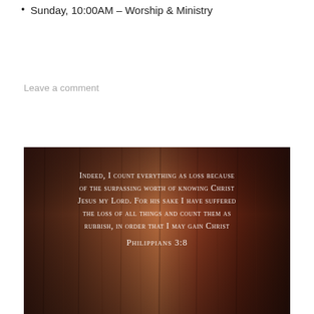Sunday, 10:00AM – Worship & Ministry
Leave a comment
[Figure (illustration): Dark wood-textured background image with white small-caps text of Philippians 3:8 quote: 'Indeed, I count everything as loss because of the surpassing worth of knowing Christ Jesus my Lord. For his sake I have suffered the loss of all things and count them as rubbish, in order that I may gain Christ Philippians 3:8']